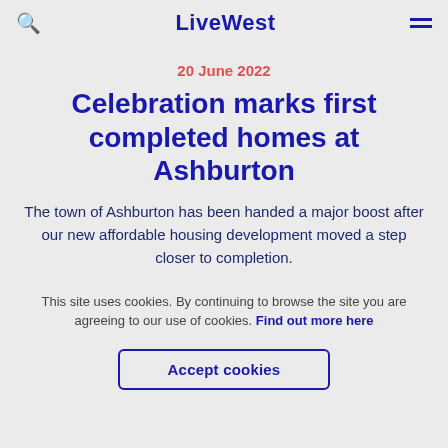LiveWest
20 June 2022
Celebration marks first completed homes at Ashburton
The town of Ashburton has been handed a major boost after our new affordable housing development moved a step closer to completion.
This site uses cookies. By continuing to browse the site you are agreeing to our use of cookies. Find out more here
Accept cookies